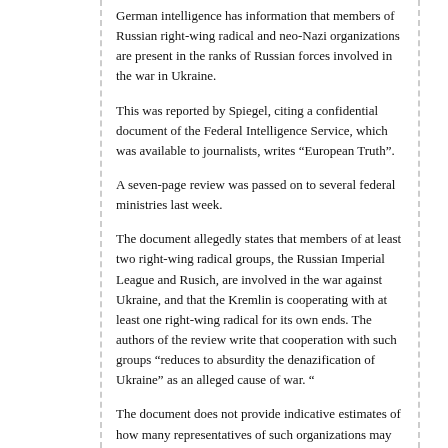German intelligence has information that members of Russian right-wing radical and neo-Nazi organizations are present in the ranks of Russian forces involved in the war in Ukraine.
This was reported by Spiegel, citing a confidential document of the Federal Intelligence Service, which was available to journalists, writes “European Truth”.
A seven-page review was passed on to several federal ministries last week.
The document allegedly states that members of at least two right-wing radical groups, the Russian Imperial League and Rusich, are involved in the war against Ukraine, and that the Kremlin is cooperating with at least one right-wing radical for its own ends. The authors of the review write that cooperation with such groups “reduces to absurdity the denazification of Ukraine” as an alleged cause of war. “
The document does not provide indicative estimates of how many representatives of such organizations may be involved in hostilities against Ukraine, but lists the names of